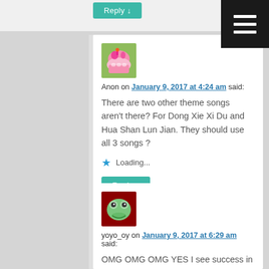Reply ↓
Anon on January 9, 2017 at 4:24 am said:
There are two other theme songs aren't there? For Dong Xie Xi Du and Hua Shan Lun Jian. They should use all 3 songs ?
Loading...
Reply ↓
yoyo_oy on January 9, 2017 at 6:29 am said:
OMG OMG OMG YES I see success in them already, bc of the music, music is the main bomb of everything! Smartest move I've seen!